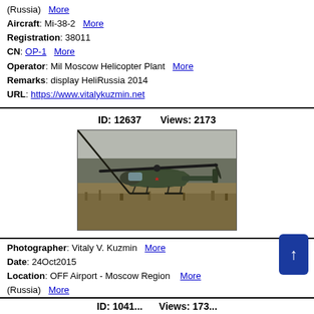(Russia) More
Aircraft: Mi-38-2 More
Registration: 38011
CN: OP-1 More
Operator: Mil Moscow Helicopter Plant More
Remarks: display HeliRussia 2014
URL: https://www.vitalykuzmin.net
ID: 12637     Views: 2173
[Figure (photo): Photograph of a military helicopter (Mi-8MTV-2) in flight over a field in misty/foggy conditions, with trees in the background. The helicopter is dark green with a red star marking.]
Photographer: Vitaly V. Kuzmin More
Date: 24Oct2015
Location: OFF Airport - Moscow Region (Russia) More
Aircraft: Mi-8MTV-2 More
Registration: 109 yellow
CN: 9 5475 More
Operator: Russian Ministry of the Interior More
URL: http://vitalykuzmin.net
ID: 1041...     Views: 173...